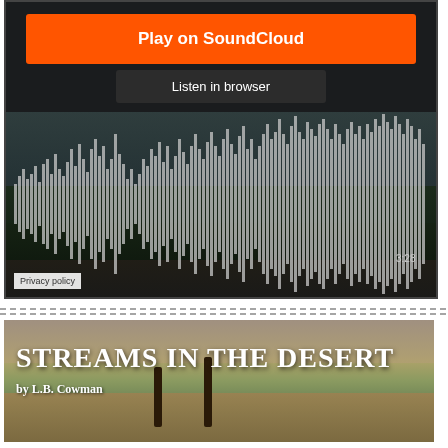[Figure (screenshot): SoundCloud embedded audio player with orange 'Play on SoundCloud' button, 'Listen in browser' button, dark background with desert/nature scene, audio waveform visualization showing bars with 3:28 duration, and Privacy policy label]
Privacy policy
[Figure (illustration): Desert landscape banner image with palm trees and sandy terrain, overlaid with white text 'STREAMS IN THE DESERT by L.B. Cowman']
STREAMS IN THE DESERT
by L.B. Cowman